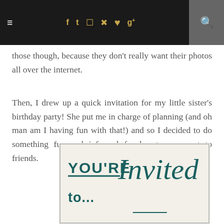≡  f  t  ☷  ⊕  ♥  g+  🔍
those though, because they don't really want their photos all over the internet.
Then, I drew up a quick invitation for my little sister's birthday party! She put me in charge of planning (and oh man am I having fun with that!) and so I decided to do something fun and informal for her to pass out to friends.
[Figure (photo): A hand-drawn birthday party invitation card showing 'YOU'RE Invited to...' in teal/dark green lettering on a light background.]